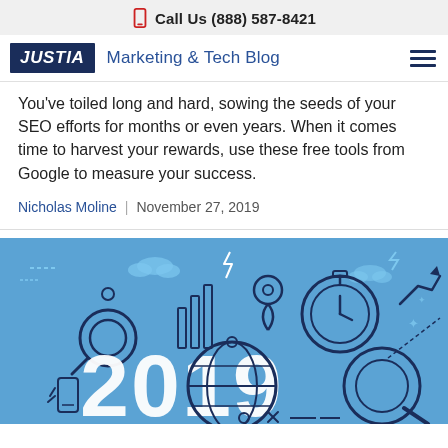Call Us (888) 587-8421
JUSTIA Marketing & Tech Blog
You've toiled long and hard, sowing the seeds of your SEO efforts for months or even years. When it comes time to harvest your rewards, use these free tools from Google to measure your success.
Nicholas Moline | November 27, 2019
[Figure (illustration): Blue illustrated banner with '2019' in large white text, surrounded by icons of a magnifying glass, bar chart, location pin, globe, stopwatch/clock, upward trending arrow, and a hand holding a phone. SEO analytics themed graphic.]